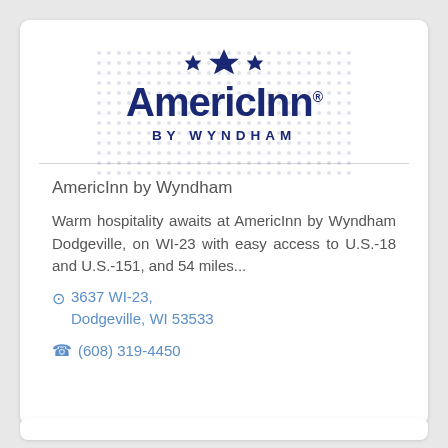[Figure (logo): AmericInn by Wyndham logo with three stars (two small flanking one large) above the brand name 'AmericInn' with registered trademark, and 'BY WYNDHAM' in spaced capitals below]
AmericInn by Wyndham
Warm hospitality awaits at AmericInn by Wyndham Dodgeville, on WI-23 with easy access to U.S.-18 and U.S.-151, and 54 miles...
3637 WI-23, Dodgeville, WI 53533
(608) 319-4450